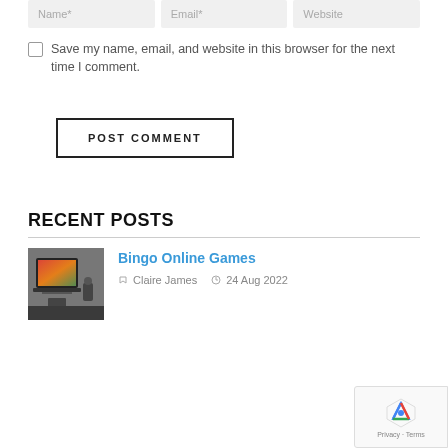Name* | Email* | Website
Save my name, email, and website in this browser for the next time I comment.
POST COMMENT
RECENT POSTS
Bingo Online Games | Claire James | 24 Aug 2022